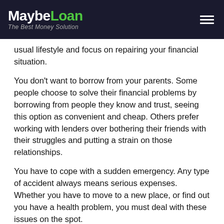MaybeLoan – The Best Money Solution
usual lifestyle and focus on repairing your financial situation.
You don't want to borrow from your parents. Some people choose to solve their financial problems by borrowing from people they know and trust, seeing this option as convenient and cheap. Others prefer working with lenders over bothering their friends with their struggles and putting a strain on those relationships.
You have to cope with a sudden emergency. Any type of accident always means serious expenses. Whether you have to move to a new place, or find out you have a health problem, you must deal with these issues on the spot.
Benefits of a Sheffield (Massachusetts, MA) Cash